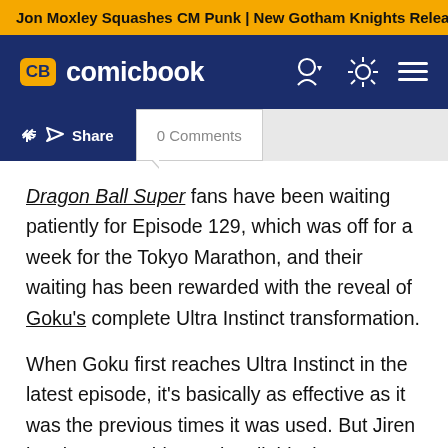Jon Moxley Squashes CM Punk | New Gotham Knights Releas
[Figure (logo): ComicBook.com navigation bar with CB logo, site name 'comicbook', and nav icons]
Share | 0 Comments
Dragon Ball Super fans have been waiting patiently for Episode 129, which was off for a week for the Tokyo Marathon, and their waiting has been rewarded with the reveal of Goku's complete Ultra Instinct transformation.
When Goku first reaches Ultra Instinct in the latest episode, it's basically as effective as it was the previous times it was used. But Jiren has been watching Goku all this time, so even his Ultra Instinct state wasn't exactly good enough to